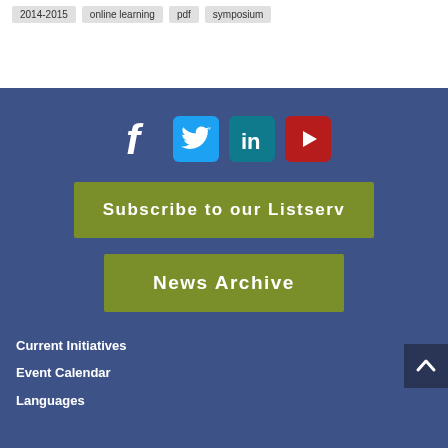2014-2015  online learning  pdf  symposium
[Figure (infographic): Social media icons row: Facebook (f), Twitter (bird), LinkedIn (in), YouTube (play button)]
Subscribe to our Listserv
News Archive
Current Initiatives
Event Calendar
Languages